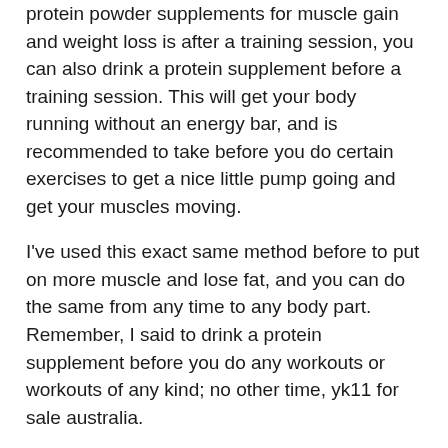protein powder supplements for muscle gain and weight loss is after a training session, you can also drink a protein supplement before a training session. This will get your body running without an energy bar, and is recommended to take before you do certain exercises to get a nice little pump going and get your muscles moving.
I've used this exact same method before to put on more muscle and lose fat, and you can do the same from any time to any body part. Remember, I said to drink a protein supplement before you do any workouts or workouts of any kind; no other time, yk11 for sale australia.
Another way to drink protein before a workout?
One other way to drink protein in the